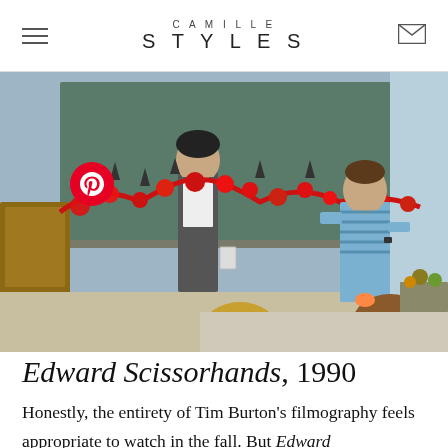CAMILLE STYLES
[Figure (photo): Movie still from Edward Scissorhands (1990) showing a figure in a classroom holding up a red decorative garland/creation, with children watching, in front of a chalkboard. A Pinterest badge overlay is visible in the lower-left of the image.]
Edward Scissorhands, 1990
Honestly, the entirety of Tim Burton's filmography feels appropriate to watch in the fall. But Edward Scissorhands, with its fairytale feel and gothic influences, may be the